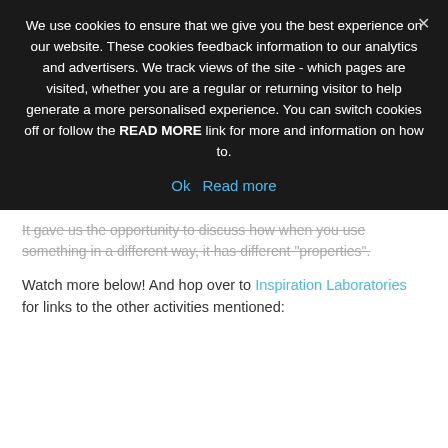We use cookies to ensure that we give you the best experience on our website. These cookies feedback information to our analytics and advertisers. We track views of the site - which pages are visited, whether you are a regular or returning visitor to help generate a more personalised experience. You can switch cookies off or follow the READ MORE link for more and information on how to.
Ok   Read more
It gave us the opportunity to discuss how when you use something in a different way, it has different "properties".
Watch more below! And hop over to Inspiration Laboratories for links to the other activities mentioned: